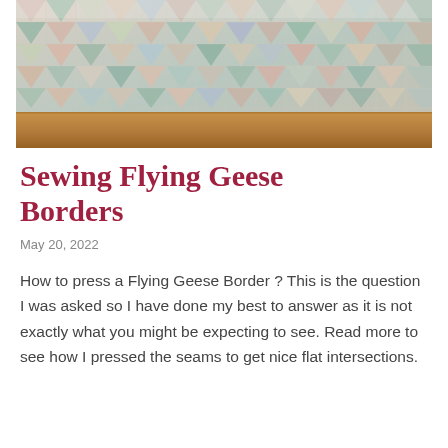[Figure (photo): A flying geese quilt border displayed on what appears to be a wooden shelf or ledge. The quilt shows triangular patchwork pieces in muted tones of pink, green, blue, and cream arranged in a repeating flying geese pattern.]
Sewing Flying Geese Borders
May 20, 2022
How to press a Flying Geese Border ? This is the question I was asked so I have done my best to answer as it is not exactly what you might be expecting to see. Read more to see how I pressed the seams to get nice flat intersections.